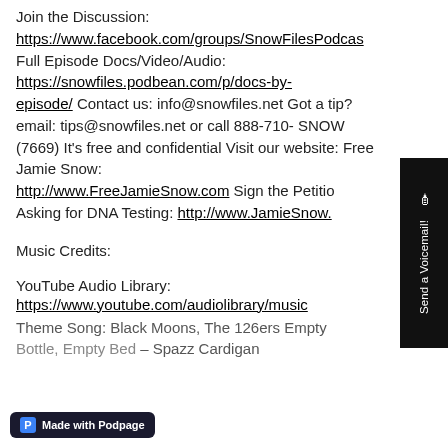Join the Discussion: https://www.facebook.com/groups/SnowFilesPodcas Full Episode Docs/Video/Audio: https://snowfiles.podbean.com/p/docs-by-episode/ Contact us: info@snowfiles.net Got a tip? email: tips@snowfiles.net or call 888-710-SNOW (7669) It's free and confidential Visit our website: Free Jamie Snow: http://www.FreeJamieSnow.com Sign the Petition Asking for DNA Testing: http://www.JamieSnow.
Music Credits:
YouTube Audio Library: https://www.youtube.com/audiolibrary/music Theme Song: Black Moons, The 126ers Empty Bottle, Empty Bed – Spazz Cardigan
[Figure (other): Dark sidebar button with 'Send a Voicemail!' text rotated vertically, with microphone icon]
[Figure (logo): Made with Podpage badge with blue P icon on dark background]